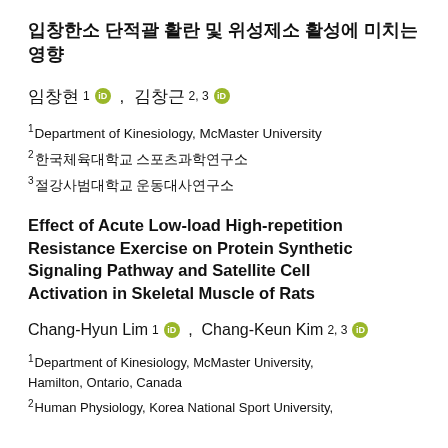입창한소 단적괄 활란 및 위성제소 활성에 미치는 영향
임창현 1, 김창근 2, 3
1 Department of Kinesiology, McMaster University
2 한국체육대학교 스포츠과학연구소
3 절강사범대학교 운동대사연구소
Effect of Acute Low-load High-repetition Resistance Exercise on Protein Synthetic Signaling Pathway and Satellite Cell Activation in Skeletal Muscle of Rats
Chang-Hyun Lim 1, Chang-Keun Kim 2, 3
1 Department of Kinesiology, McMaster University, Hamilton, Ontario, Canada
2 Human Physiology, Korea National Sport University,